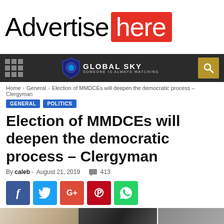[Figure (other): Advertisement banner reading 'Advertise here' with black sans-serif text and 'here' on red background]
[Figure (logo): Global Sky website navigation bar with grid icon, shield logo with text 'GLOBAL SKY - SOMEONE IS ALWAYS WATCHING', and search icon on gold background]
Home › General › Election of MMDCEs will deepen the democratic process – Clergyman
GENERAL  POLITICS
Election of MMDCEs will deepen the democratic process – Clergyman
By caleb - August 21, 2019  💬 413
[Figure (infographic): Social media sharing buttons: Facebook (blue), Twitter (cyan), Google+ (red-orange), Pinterest (red), WhatsApp (green)]
[Figure (photo): Partial photo strip at bottom of page showing article images]